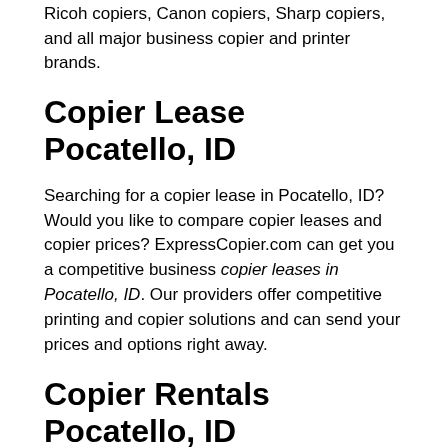Ricoh copiers, Canon copiers, Sharp copiers, and all major business copier and printer brands.
Copier Lease Pocatello, ID
Searching for a copier lease in Pocatello, ID? Would you like to compare copier leases and copier prices? ExpressCopier.com can get you a competitive business copier leases in Pocatello, ID. Our providers offer competitive printing and copier solutions and can send your prices and options right away.
Copier Rentals Pocatello, ID
Does your business need an office printer in Pocatello, ID? Our printing and copier companies can send you pricing and copier specifications for these types of copiers: